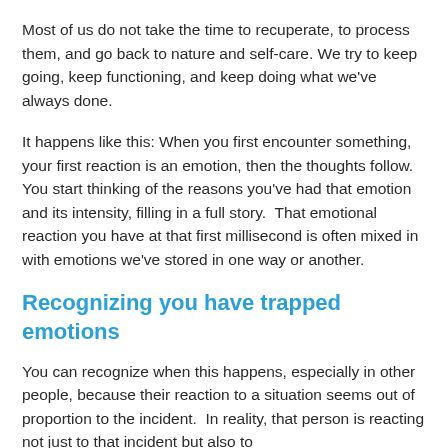Most of us do not take the time to recuperate, to process them, and go back to nature and self-care. We try to keep going, keep functioning, and keep doing what we've always done.
It happens like this: When you first encounter something, your first reaction is an emotion, then the thoughts follow.  You start thinking of the reasons you've had that emotion and its intensity, filling in a full story.  That emotional reaction you have at that first millisecond is often mixed in with emotions we've stored in one way or another.
Recognizing you have trapped emotions
You can recognize when this happens, especially in other people, because their reaction to a situation seems out of proportion to the incident.  In reality, that person is reacting not just to that incident but also to